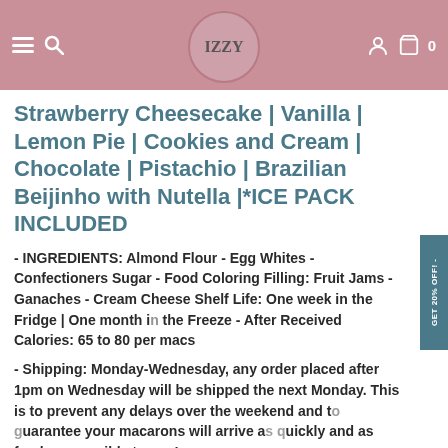IZZY
Strawberry Cheesecake | Vanilla | Lemon Pie | Cookies and Cream | Chocolate | Pistachio | Brazilian Beijinho with Nutella |*ICE PACK INCLUDED
- INGREDIENTS: Almond Flour - Egg Whites - Confectioners Sugar - Food Coloring Filling: Fruit Jams - Ganaches - Cream Cheese Shelf Life: One week in the Fridge | One month in the Freeze - After Received Calories: 65  to 80 per macs
- Shipping: Monday-Wednesday, any order placed after 1pm on Wednesday will be shipped the next Monday. This is to prevent any delays over the weekend and to guarantee your macarons will arrive as quickly and as fresh as possible to you!